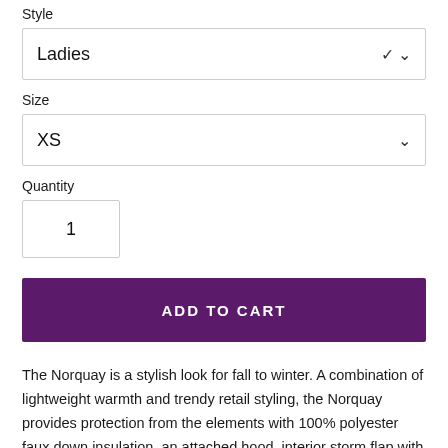Style
Ladies
Size
XS
Quantity
1
ADD TO CART
The Norquay is a stylish look for fall to winter. A combination of lightweight warmth and trendy retail styling, the Norquay provides protection from the elements with 100% polyester faux down insulation, an attached hood, interior storm flap with chin guard and water-repellent finish. It also features contrast